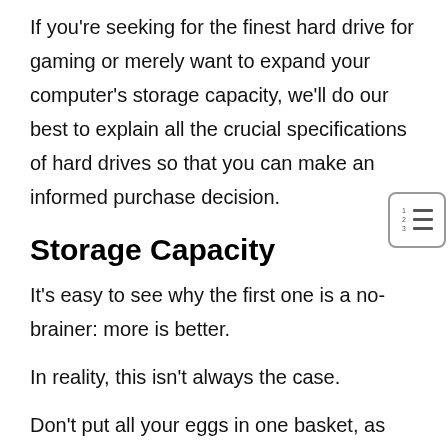If you're seeking for the finest hard drive for gaming or merely want to expand your computer's storage capacity, we'll do our best to explain all the crucial specifications of hard drives so that you can make an informed purchase decision.
Storage Capacity
It's easy to see why the first one is a no-brainer: more is better.
In reality, this isn't always the case.
Don't put all your eggs in one basket, as the old adage suggests. Don't place all of your vital data on a single hard disk, because a single failure